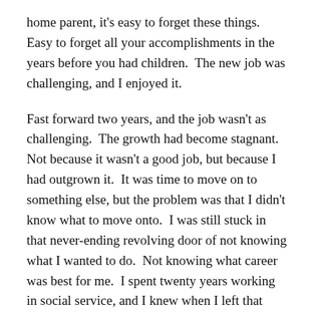home parent, it's easy to forget these things.  Easy to forget all your accomplishments in the years before you had children.  The new job was challenging, and I enjoyed it.
Fast forward two years, and the job wasn't as challenging.  The growth had become stagnant.  Not because it wasn't a good job, but because I had outgrown it.  It was time to move on to something else, but the problem was that I didn't know what to move onto.  I was still stuck in that never-ending revolving door of not knowing what I wanted to do.  Not knowing what career was best for me.  I spent twenty years working in social service, and I knew when I left that field that I was ready for a change.  Working in music publishing was great, until I had outgrown the position.  And to be honest, I never really found a passion for the